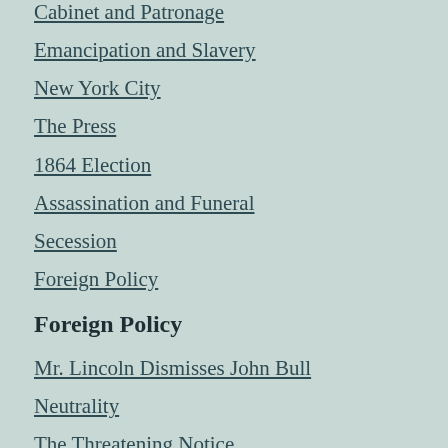Cabinet and Patronage
Emancipation and Slavery
New York City
The Press
1864 Election
Assassination and Funeral
Secession
Foreign Policy
Foreign Policy
Mr. Lincoln Dismisses John Bull
Neutrality
The Threatening Notice
Up a Tree– Colonel Bull and the Yankee Coon